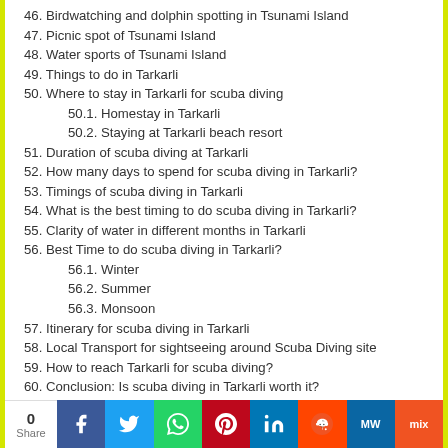46. Birdwatching and dolphin spotting in Tsunami Island
47. Picnic spot of Tsunami Island
48. Water sports of Tsunami Island
49. Things to do in Tarkarli
50. Where to stay in Tarkarli for scuba diving
50.1. Homestay in Tarkarli
50.2. Staying at Tarkarli beach resort
51. Duration of scuba diving at Tarkarli
52. How many days to spend for scuba diving in Tarkarli?
53. Timings of scuba diving in Tarkarli
54. What is the best timing to do scuba diving in Tarkarli?
55. Clarity of water in different months in Tarkarli
56. Best Time to do scuba diving in Tarkarli?
56.1. Winter
56.2. Summer
56.3. Monsoon
57. Itinerary for scuba diving in Tarkarli
58. Local Transport for sightseeing around Scuba Diving site
59. How to reach Tarkarli for scuba diving?
60. Conclusion: Is scuba diving in Tarkarli worth it?